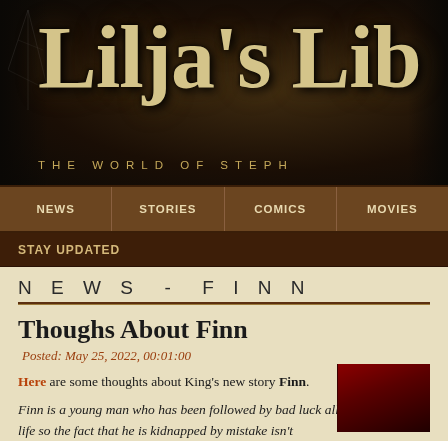[Figure (illustration): Lilja's Library website banner with large decorative text 'Lilja's Lib' in gold/cream serif font on dark background with library/bookshelf imagery. Subtitle reads 'THE WORLD OF STEPH']
NEWS | STORIES | COMICS | MOVIES
STAY UPDATED
NEWS - FINN
Thoughs About Finn
Posted: May 25, 2022, 00:01:00
Here are some thoughts about King's new story Finn.
Finn is a young man who has been followed by bad luck all his life so the fact that he is kidnapped by mistake isn't